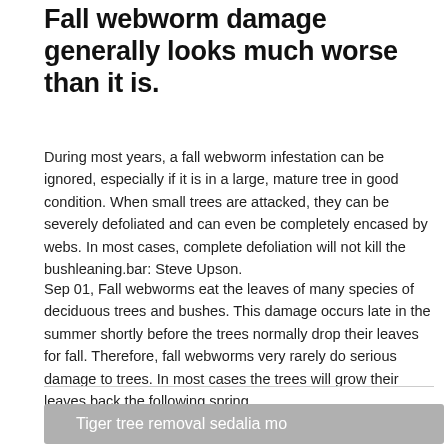Fall webworm damage generally looks much worse than it is.
During most years, a fall webworm infestation can be ignored, especially if it is in a large, mature tree in good condition. When small trees are attacked, they can be severely defoliated and can even be completely encased by webs. In most cases, complete defoliation will not kill the bushleaning.bar: Steve Upson.
Sep 01, Fall webworms eat the leaves of many species of deciduous trees and bushes. This damage occurs late in the summer shortly before the trees normally drop their leaves for fall. Therefore, fall webworms very rarely do serious damage to trees. In most cases the trees will grow their leaves back the following spring.
Tiger tree removal sedalia mo